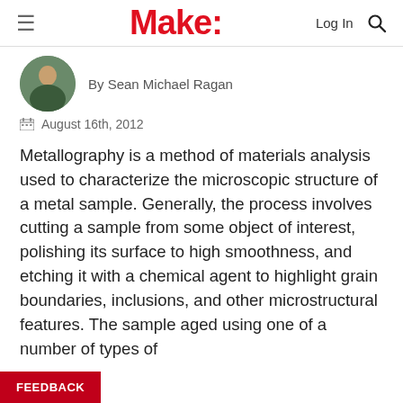Make:
[Figure (photo): Circular avatar photo of author Sean Michael Ragan]
By Sean Michael Ragan
August 16th, 2012
Metallography is a method of materials analysis used to characterize the microscopic structure of a metal sample. Generally, the process involves cutting a sample from some object of interest, polishing its surface to high smoothness, and etching it with a chemical agent to highlight grain boundaries, inclusions, and other microstructural features. The sample aged using one of a number of types of